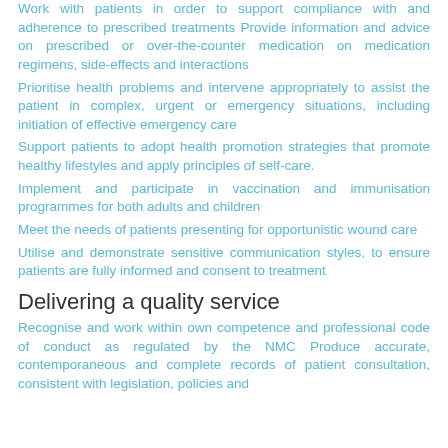Work with patients in order to support compliance with and adherence to prescribed treatments Provide information and advice on prescribed or over-the-counter medication on medication regimens, side-effects and interactions
Prioritise health problems and intervene appropriately to assist the patient in complex, urgent or emergency situations, including initiation of effective emergency care
Support patients to adopt health promotion strategies that promote healthy lifestyles and apply principles of self-care.
Implement and participate in vaccination and immunisation programmes for both adults and children
Meet the needs of patients presenting for opportunistic wound care
Utilise and demonstrate sensitive communication styles, to ensure patients are fully informed and consent to treatment
Delivering a quality service
Recognise and work within own competence and professional code of conduct as regulated by the NMC Produce accurate, contemporaneous and complete records of patient consultation, consistent with legislation, policies and